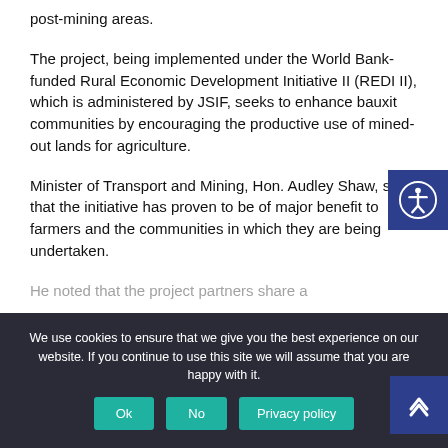post-mining areas.
The project, being implemented under the World Bank-funded Rural Economic Development Initiative II (REDI II), which is administered by JSIF, seeks to enhance bauxit communities by encouraging the productive use of mined-out lands for agriculture.
Minister of Transport and Mining, Hon. Audley Shaw, said that the initiative has proven to be of major benefit to farmers and the communities in which they are being undertaken.
He noted that the project partners share a
We use cookies to ensure that we give you the best experience on our website. If you continue to use this site we will assume that you are happy with it.